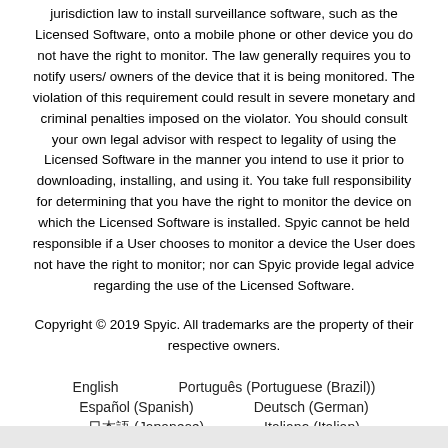jurisdiction law to install surveillance software, such as the Licensed Software, onto a mobile phone or other device you do not have the right to monitor. The law generally requires you to notify users/ owners of the device that it is being monitored. The violation of this requirement could result in severe monetary and criminal penalties imposed on the violator. You should consult your own legal advisor with respect to legality of using the Licensed Software in the manner you intend to use it prior to downloading, installing, and using it. You take full responsibility for determining that you have the right to monitor the device on which the Licensed Software is installed. Spyic cannot be held responsible if a User chooses to monitor a device the User does not have the right to monitor; nor can Spyic provide legal advice regarding the use of the Licensed Software.
Copyright © 2019 Spyic. All trademarks are the property of their respective owners.
English
Português (Portuguese (Brazil))
Español (Spanish)
Deutsch (German)
日本語 (Japanese)
Italiano (Italian)